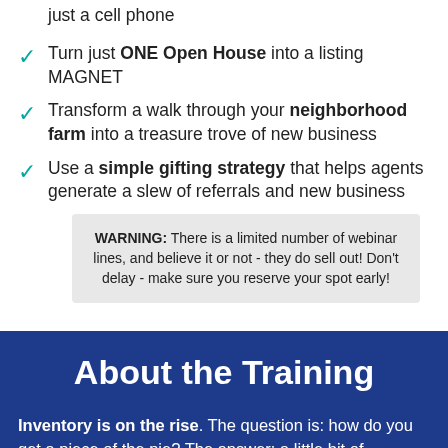just a cell phone
Turn just ONE Open House into a listing MAGNET
Transform a walk through your neighborhood farm into a treasure trove of new business
Use a simple gifting strategy that helps agents generate a slew of referrals and new business
WARNING: There is a limited number of webinar lines, and believe it or not - they do sell out! Don't delay - make sure you reserve your spot early!
About the Training
Inventory is on the rise. The question is: how do you get a piece of the pie? The answer: a little bit of